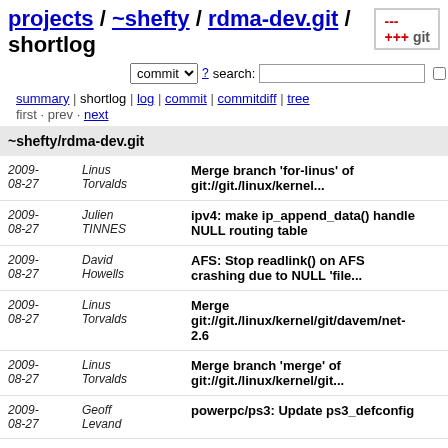projects / ~shefty / rdma-dev.git / shortlog
commit  ? search:   re
summary | shortlog | log | commit | commitdiff | tree
first · prev · next
~shefty/rdma-dev.git
| Date | Author | Message |
| --- | --- | --- |
| 2009-08-27 | Linus Torvalds | Merge branch 'for-linus' of git://git./linux/kernel... |
| 2009-08-27 | Julien TINNES | ipv4: make ip_append_data() handle NULL routing table |
| 2009-08-27 | David Howells | AFS: Stop readlink() on AFS crashing due to NULL 'file... |
| 2009-08-27 | Linus Torvalds | Merge git://git./linux/kernel/git/davem/net-2.6 |
| 2009-08-27 | Linus Torvalds | Merge branch 'merge' of git://git./linux/kernel/git... |
| 2009-08-27 | Geoff Levand | powerpc/ps3: Update ps3_defconfig |
| 2009-08-27 | Geert Uytterhoeven | powerpc/ps3: Add missing check for PS3 to rtc-ps3 platf... |